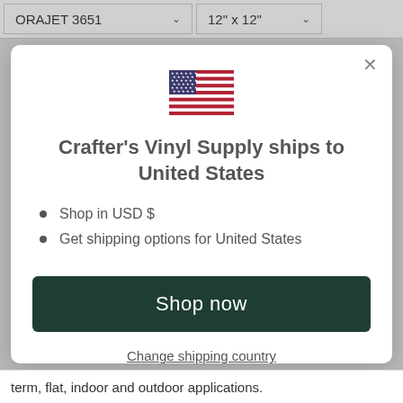ORAJET 3651
12" x 12"
[Figure (illustration): US flag emoji/icon]
Crafter's Vinyl Supply ships to United States
Shop in USD $
Get shipping options for United States
Shop now
Change shipping country
term, flat, indoor and outdoor applications.